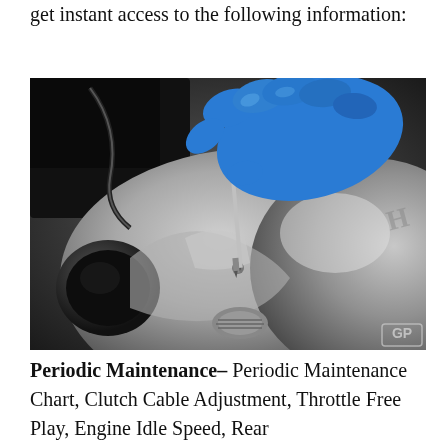get instant access to the following information:
[Figure (photo): Close-up photo of a gloved hand (blue latex glove) using a screwdriver or probe tool on a motorcycle engine component, with a partially visible Honda engine cover and metallic parts.]
Periodic Maintenance- Periodic Maintenance Chart, Clutch Cable Adjustment, Throttle Free Play, Engine Idle Speed, Rear